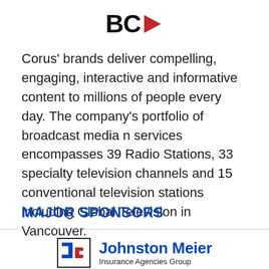[Figure (logo): Corus BC logo with bold BC text and red arrow/triangle shape]
Corus' brands deliver compelling, engaging, interactive and informative content to millions of people every day. The company's portfolio of broadcast media n services encompasses 39 Radio Stations, 33 specialty television channels and 15 conventional television stations including Global Television in Vancouver.
MAJOR SPONSORS
[Figure (logo): Johnston Meier Insurance Agencies Group logo with JB monogram in a box]